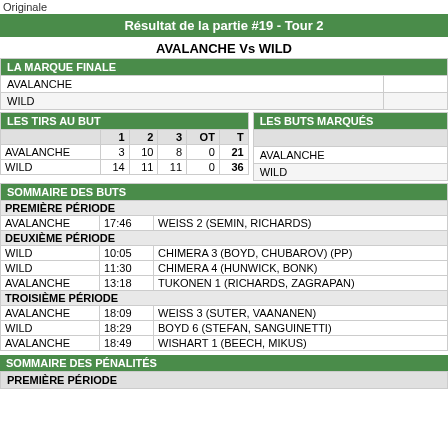Originale
Résultat de la partie #19 - Tour 2
AVALANCHE Vs WILD
|  |  |
| --- | --- |
| AVALANCHE |  |
| WILD |  |
|  | 1 | 2 | 3 | OT | T |
| --- | --- | --- | --- | --- | --- |
| AVALANCHE | 3 | 10 | 8 | 0 | 21 |
| WILD | 14 | 11 | 11 | 0 | 36 |
|  |
| --- |
| AVALANCHE |
| WILD |
| SOMMAIRE DES BUTS |
| --- |
| PREMIÈRE PÉRIODE |  |  |
| AVALANCHE | 17:46 | WEISS 2 (SEMIN, RICHARDS) |
| DEUXIÈME PÉRIODE |  |  |
| WILD | 10:05 | CHIMERA 3 (BOYD, CHUBAROV) (PP) |
| WILD | 11:30 | CHIMERA 4 (HUNWICK, BONK) |
| AVALANCHE | 13:18 | TUKONEN 1 (RICHARDS, ZAGRAPAN) |
| TROISIÈME PÉRIODE |  |  |
| AVALANCHE | 18:09 | WEISS 3 (SUTER, VAANANEN) |
| WILD | 18:29 | BOYD 6 (STEFAN, SANGUINETTI) |
| AVALANCHE | 18:49 | WISHART 1 (BEECH, MIKUS) |
SOMMAIRE DES PÉNALITÉS
PREMIÈRE PÉRIODE